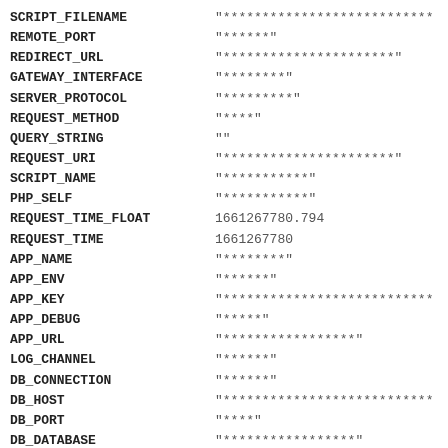| Key | Value |
| --- | --- |
| SCRIPT_FILENAME | "******************************** |
| REMOTE_PORT | "******" |
| REDIRECT_URL | "**********************" |
| GATEWAY_INTERFACE | "********" |
| SERVER_PROTOCOL | "*********" |
| REQUEST_METHOD | "****" |
| QUERY_STRING | "" |
| REQUEST_URI | "**********************" |
| SCRIPT_NAME | "***********" |
| PHP_SELF | "***********" |
| REQUEST_TIME_FLOAT | 1661267780.794 |
| REQUEST_TIME | 1661267780 |
| APP_NAME | "********" |
| APP_ENV | "******" |
| APP_KEY | "******************************** |
| APP_DEBUG | "*****" |
| APP_URL | "*****************" |
| LOG_CHANNEL | "******" |
| DB_CONNECTION | "******" |
| DB_HOST | "******************************** |
| DB_PORT | "****" |
| DB_DATABASE | "*****************" |
| DB_USERNAME | "*****************" |
| DB_PASSWORD | "*****************" |